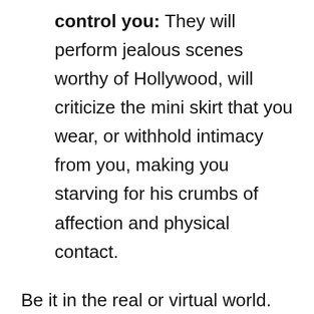control you: They will perform jealous scenes worthy of Hollywood, will criticize the mini skirt that you wear, or withhold intimacy from you, making you starving for his crumbs of affection and physical contact.
Be it in the real or virtual world. The naked truth is that you need and deserve a man who is willing to be entire with you. It is possible to have a mentally healthy partner, even if he is imperfect, he will be